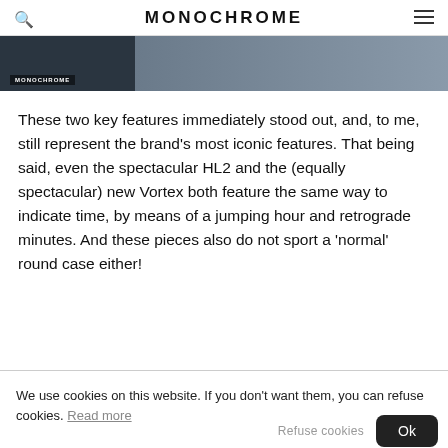MONOCHROME
[Figure (photo): Partial image of a watch or watch-related object with dark and grey tones, with a small MONOCHROME watermark label in the lower left corner.]
These two key features immediately stood out, and, to me, still represent the brand’s most iconic features. That being said, even the spectacular HL2 and the (equally spectacular) new Vortex both feature the same way to indicate time, by means of a jumping hour and retrograde minutes. And these pieces also do not sport a ‘normal’ round case either!
We use cookies on this website. If you don't want them, you can refuse cookies. Read more
Refuse cookies
Ok